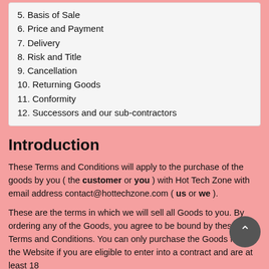5. Basis of Sale
6. Price and Payment
7. Delivery
8. Risk and Title
9. Cancellation
10. Returning Goods
11. Conformity
12. Successors and our sub-contractors
Introduction
These Terms and Conditions will apply to the purchase of the goods by you ( the customer or you ) with Hot Tech Zone with email address contact@hottechzone.com ( us or we ).
These are the terms in which we will sell all Goods to you. By ordering any of the Goods, you agree to be bound by these Terms and Conditions. You can only purchase the Goods from the Website if you are eligible to enter into a contract and are at least 18